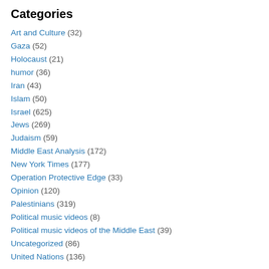Categories
Art and Culture (32)
Gaza (52)
Holocaust (21)
humor (36)
Iran (43)
Islam (50)
Israel (625)
Jews (269)
Judaism (59)
Middle East Analysis (172)
New York Times (177)
Operation Protective Edge (33)
Opinion (120)
Palestinians (319)
Political music videos (8)
Political music videos of the Middle East (39)
Uncategorized (86)
United Nations (136)